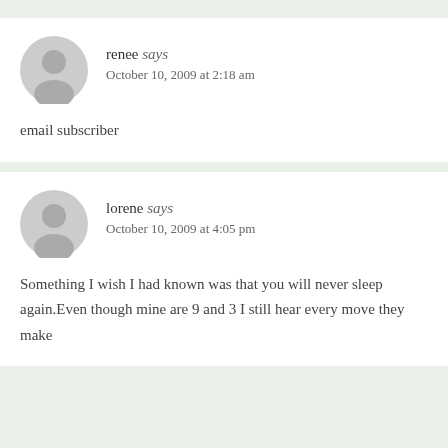renee says
October 10, 2009 at 2:18 am

email subscriber
lorene says
October 10, 2009 at 4:05 pm

Something I wish I had known was that you will never sleep again.Even though mine are 9 and 3 I still hear every move they make